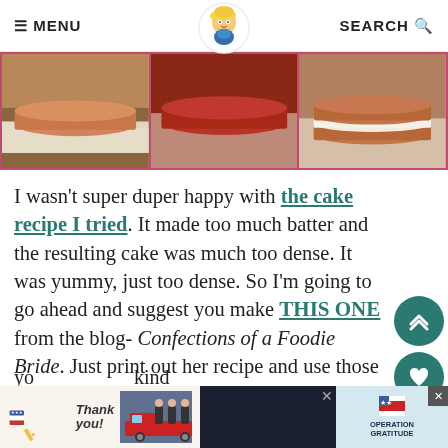≡ MENU  [logo]  SEARCH 🔍
[Figure (photo): Three photos side by side showing cake layers: a plain cake layer on parchment, a round red velvet cake layer, and a cake layer with white cream filling on parchment paper]
I wasn't super duper happy with the cake recipe I tried.  It made too much batter and the resulting cake was much too dense. It was yummy, just too dense.  So I'm going to go ahead and suggest you make THIS ONE from the blog- Confections of a Foodie Bride.  Just print out her recipe and use those two cake layers to make this cheesecake cake. ...
[Figure (other): Advertisement banner: Thank You with pencil art, Operation Gratitude logo with military photo]
yo kind of